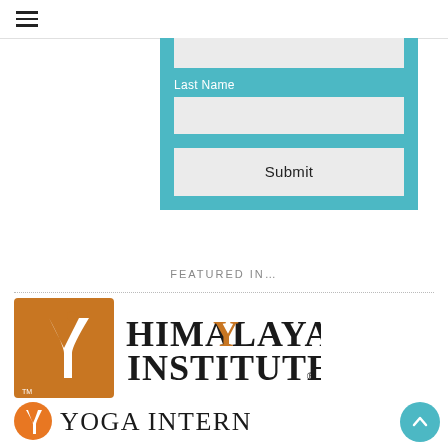≡ (hamburger menu icon)
[Figure (screenshot): Web form with teal background showing a partially visible input field at top, a 'Last Name' label with input field, and a Submit button]
FEATURED IN…
[Figure (logo): Himalayan Institute logo — orange square with stylized Y figure and text 'Himalayan Institute®']
[Figure (logo): Yoga International logo — orange circle with Y figure and text 'Yoga International']